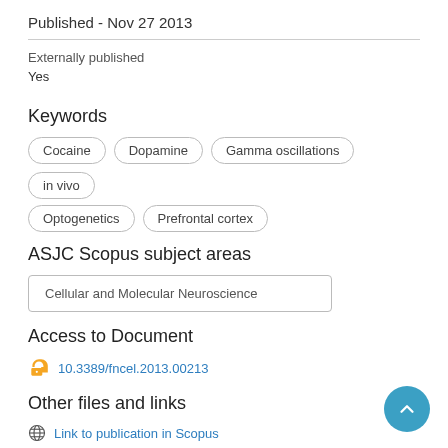Published - Nov 27 2013
Externally published
Yes
Keywords
Cocaine
Dopamine
Gamma oscillations
in vivo
Optogenetics
Prefrontal cortex
ASJC Scopus subject areas
Cellular and Molecular Neuroscience
Access to Document
10.3389/fncel.2013.00213
Other files and links
Link to publication in Scopus